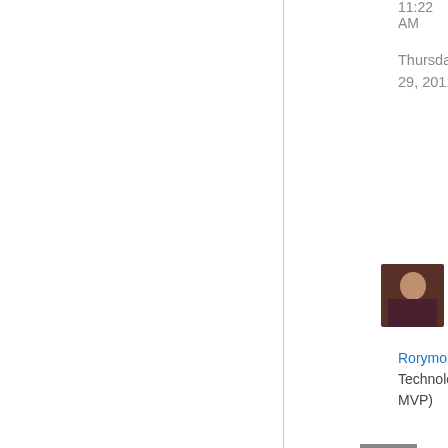11:22 AM
Thursday, December 29, 2011 8:46 AM
[Figure (photo): User avatar photo of Rorymon, showing a man in a dark shirt]
Rorymon Algiz Technology (MCC MVP)
[Figure (other): Comment/reply icon - grey square with white speech bubble]
▲
0
Sign in to vote
You should check these two things:
Path in OSD file (like Rorymon said): Open the OSD file of your package,